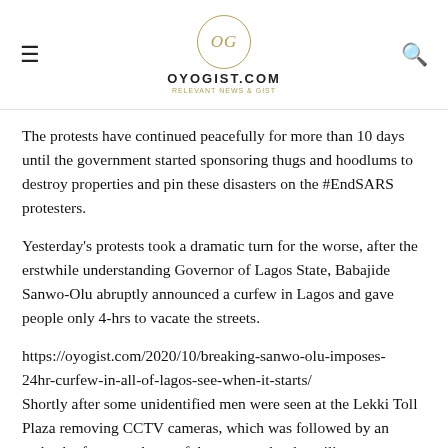OYOGIST.COM
The protests have continued peacefully for more than 10 days until the government started sponsoring thugs and hoodlums to destroy properties and pin these disasters on the #EndSARS protesters.
Yesterday's protests took a dramatic turn for the worse, after the erstwhile understanding Governor of Lagos State, Babajide Sanwo-Olu abruptly announced a curfew in Lagos and gave people only 4-hrs to vacate the streets.
https://oyogist.com/2020/10/breaking-sanwo-olu-imposes-24hr-curfew-in-all-of-lagos-see-when-it-starts/
Shortly after some unidentified men were seen at the Lekki Toll Plaza removing CCTV cameras, which was followed by an ambush of unarmed peaceful protesters by the military.
The military reportedly barricaded the protesters on both